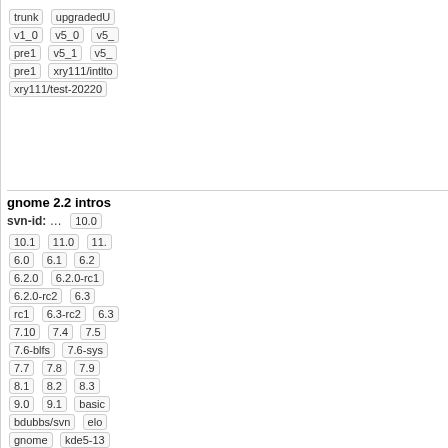|  |  |  | commit | time | author |  |
| --- | --- | --- | --- | --- | --- | --- |
|  |  |  |  |  |  | trunk | upgraded... | v1_0 | v5_0 | v5_... | pre1 | v5_1 | v5_... | pre1 | xry111/intlto... | xry111/test-20220... |
| ○ | ○ | ■(yellow) | @26a12b5 ⚙ | 20 years | larry | gnome 2.2 intros... svn-id: … 10.0 | 10.1 | 11.0 | 11.... | 6.0 | 6.1 | 6.2 | 6.2.0 | 6.2.0-rc1 | 6.2.0-rc2 | 6.3 | rc1 | 6.3-rc2 | 6.3... | 7.10 | 7.4 | 7.5 | 7.6-blfs | 7.6-sys... | 7.7 | 7.8 | 7.9 | 8.1 | 8.2 | 8.3 | 9.0 | 9.1 | basic... | bdubbs/svn | elo... | gnome | kde5-13... | kde5-14269 | kde... 14686 | krejzi/svn... | lazarus | nosym... | perl-modules | qt... | systemd-11177 | systemd-13485 | trunk | upgradedb... | v1_0 | v5_0 | v5... | pre1 | v5_1 | v5_... | pre1 | xry111/intlto... | xry111/test-20220... |
trunk | upgradedU | v1_0 | v5_0 | v5_ | pre1 | v5_1 | v5_ | pre1 | xry111/intlto | xry111/test-20220
gnome 2.2 intros svn-id: … 10.0 10.1 11.0 11. 6.0 6.1 6.2 6.2.0 6.2.0-rc1 6.2.0-rc2 6.3 rc1 6.3-rc2 6.3 7.10 7.4 7.5 7.6-blfs 7.6-sys 7.7 7.8 7.9 8.1 8.2 8.3 9.0 9.1 basic bdubbs/svn elo gnome kde5-13 kde5-14269 kde 14686 krejzi/svn lazarus nosym perl-modules qt systemd-11177 systemd-13485 trunk upgradedb v1_0 v5_0 v5 pre1 v5_1 v5_ pre1 xry111/intlto xry111/test-20220